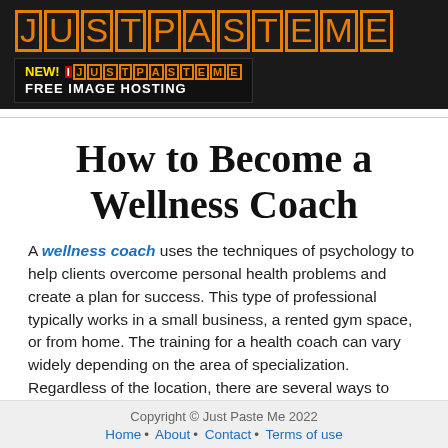[Figure (logo): JustPasteMe logo in orange block/pixel style letters on dark background, with a banner below reading NEW! JustPasteMe FREE IMAGE HOSTING]
How to Become a Wellness Coach
A wellness coach uses the techniques of psychology to help clients overcome personal health problems and create a plan for success. This type of professional typically works in a small business, a rented gym space, or from home. The training for a health coach can vary widely depending on the area of specialization. Regardless of the location, there are several ways to become a wellness coach. This article will explain the benefits of this type of job and how to get started.
Copyright © Just Paste Me 2022
Home • About • Contact • Terms of use